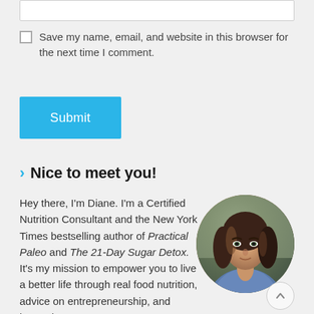[Figure (screenshot): White input text box at the top of the page]
Save my name, email, and website in this browser for the next time I comment.
Submit
Nice to meet you!
Hey there, I'm Diane. I'm a Certified Nutrition Consultant and the New York Times bestselling author of Practical Paleo and The 21-Day Sugar Detox. It's my mission to empower you to live a better life through real food nutrition, advice on entrepreneurship, and beyond.
[Figure (photo): Circular cropped portrait photo of a young woman with long wavy brown hair wearing a denim jacket, smiling slightly]